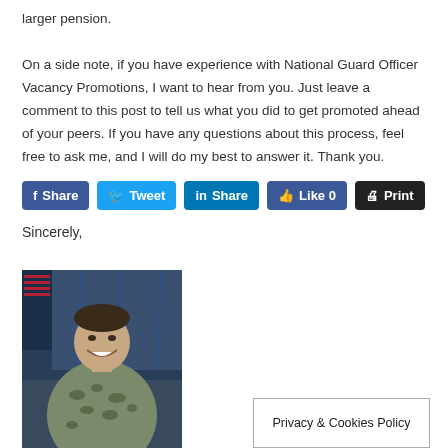larger pension. On a side note, if you have experience with National Guard Officer Vacancy Promotions, I want to hear from you. Just leave a comment to this post to tell us what you did to get promoted ahead of your peers. If you have any questions about this process, feel free to ask me, and I will do my best to answer it. Thank you.
[Figure (screenshot): Social media sharing buttons: Facebook Share, Twitter Tweet, LinkedIn Share, Facebook Like 0, Print]
Sincerely,
[Figure (photo): Photo of a smiling US Army soldier in camouflage uniform standing in front of an American flag and blue curtain background]
Privacy & Cookies Policy